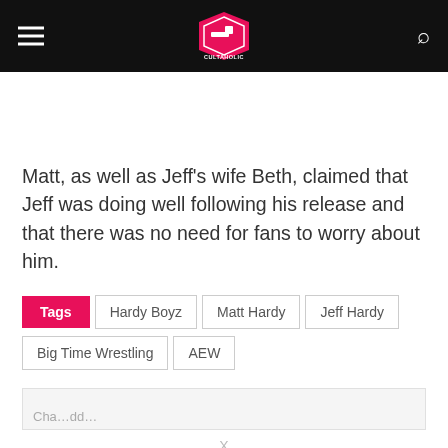Cultaholic
Matt, as well as Jeff's wife Beth, claimed that Jeff was doing well following his release and that there was no need for fans to worry about him.
Tags  Hardy Boyz  Matt Hardy  Jeff Hardy  Big Time Wrestling  AEW